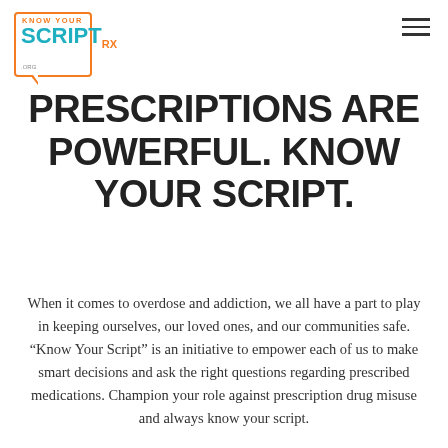[Figure (logo): Know Your Script logo with orange border speech bubble, teal SCRIPT text, orange Rx mark, and .org text]
PRESCRIPTIONS ARE POWERFUL. KNOW YOUR SCRIPT.
When it comes to overdose and addiction, we all have a part to play in keeping ourselves, our loved ones, and our communities safe. “Know Your Script” is an initiative to empower each of us to make smart decisions and ask the right questions regarding prescribed medications. Champion your role against prescription drug misuse and always know your script.